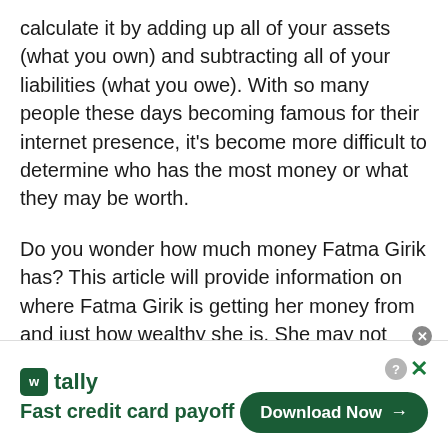calculate it by adding up all of your assets (what you own) and subtracting all of your liabilities (what you owe). With so many people these days becoming famous for their internet presence, it's become more difficult to determine who has the most money or what they may be worth.
Do you wonder how much money Fatma Girik has? This article will provide information on where Fatma Girik is getting her money from and just how wealthy she is. She may not look that rich, but she is definitely living a high life with some pretty impressive wealth!
[Figure (other): Tally app advertisement banner with logo, tagline 'Fast credit card payoff', and a green 'Download Now' button with arrow. Close (X) and help (?) buttons in corner.]